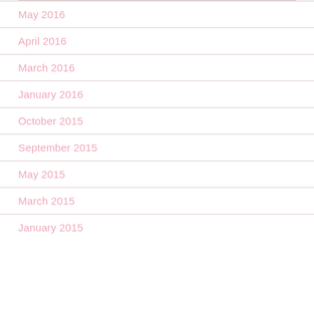May 2016
April 2016
March 2016
January 2016
October 2015
September 2015
May 2015
March 2015
January 2015